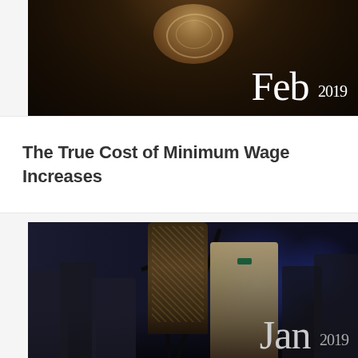[Figure (photo): Dark photo showing a coffee cup from above with latte art, on a dark background. 'Feb 2019' label overlaid in white text at bottom right.]
The True Cost of Minimum Wage Increases
[Figure (photo): Dark photo of a crowded event/concert scene with blue lighting, a performer in a sparkly outfit, microphone stands, and audience members. 'Jan 2019' label overlaid in light text at bottom right.]